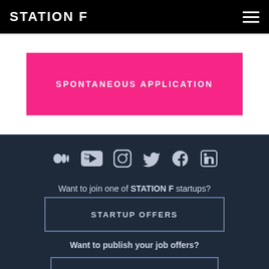STATION F
SPONTANEOUS APPLICATION
[Figure (infographic): Row of 6 social media icons: Medium, YouTube, Instagram, Twitter, Facebook, LinkedIn]
Want to join one of STATION F startups?
STARTUP OFFERS
Want to publish your job offers?